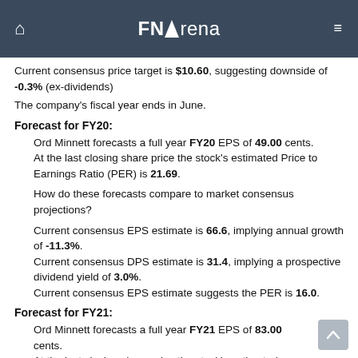FNArena
Current consensus price target is $10.60, suggesting downside of -0.3% (ex-dividends)
The company's fiscal year ends in June.
Forecast for FY20:
Ord Minnett forecasts a full year FY20 EPS of 49.00 cents. At the last closing share price the stock's estimated Price to Earnings Ratio (PER) is 21.69.
How do these forecasts compare to market consensus projections?
Current consensus EPS estimate is 66.6, implying annual growth of -11.3%. Current consensus DPS estimate is 31.4, implying a prospective dividend yield of 3.0%. Current consensus EPS estimate suggests the PER is 16.0.
Forecast for FY21:
Ord Minnett forecasts a full year FY21 EPS of 83.00 cents. At the last closing share price the stock's estimated Price to Earnings Ratio (PER) is 12.81.